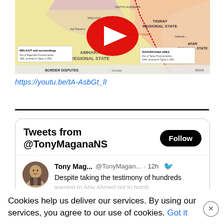[Figure (screenshot): YouTube video thumbnail showing a map of Ethiopia with regional states including Tigray Regional State, Afar Regional State, and Amhara Regional State, with border disputes marked. A red YouTube play button is overlaid in the center.]
https://youtu.be/tA-AsbGt_lI
[Figure (screenshot): Twitter/X widget showing 'Tweets from @TonyMaganaNS' with a Follow button, and a tweet by Tony Mag... (@TonyMagan...) posted 12h ago reading 'Despite taking the testimony of hundreds' with additional muted text about warning to Abiy Ahmed not to bomb and text about the ACHPR.]